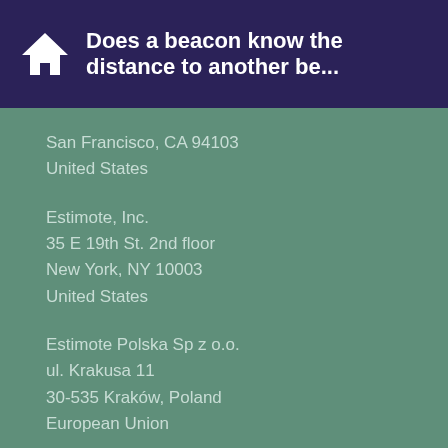Does a beacon know the distance to another be...
San Francisco, CA 94103
United States
Estimote, Inc.
35 E 19th St. 2nd floor
New York, NY 10003
United States
Estimote Polska Sp z o.o.
ul. Krakusa 11
30-535 Kraków, Poland
European Union
Copyright 2012-2017 © by Estimote, Inc., Bluetooth, Apple, Google and other trademarks are the property of their respective trademark holders.